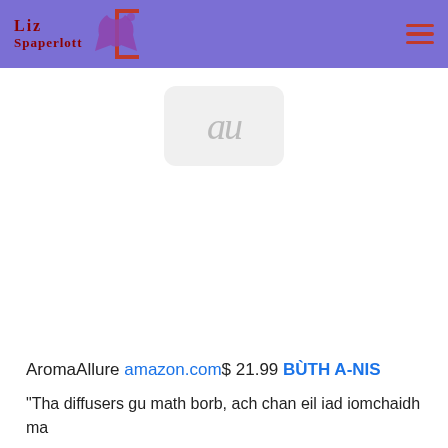Liz Spaperlott
[Figure (screenshot): A broken image placeholder showing the letters 'au' in a rounded rectangle box, representing a missing product image thumbnail.]
AromaAllure amazon.com$ 21.99 BÙTH A-NIS
“Tha diffusers gu math borb, ach chan eil iad iomchaidh ma